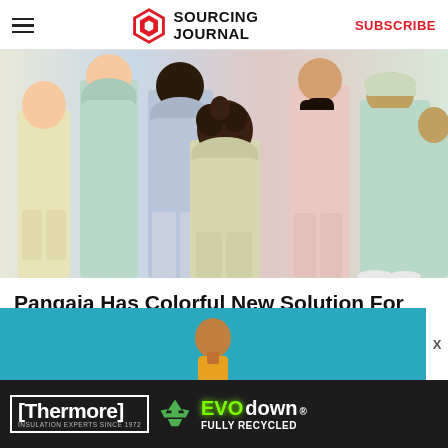Sourcing Journal | SUBSCRIBE
[Figure (photo): Group of people wearing pastel-colored casual streetwear hoodies and loungewear, standing with backs turned to camera, on white background.]
Pangaia Has Colorful New Solution For Textile Waste
[Figure (photo): Advertisement banner: teal background showing a woman, with Thermore EVO down fully recycled insulation ad below.]